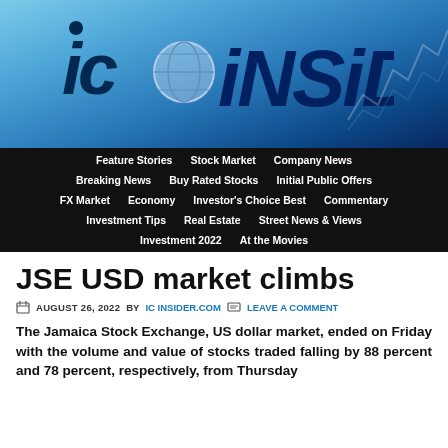[Figure (logo): IC iNSiDER logo on blue gradient background with stock chart lines]
Feature Stories | Stock Market | Company News | Breaking News | Buy Rated Stocks | Initial Public Offers | FX Market | Economy | Investor's Choice Best | Commentary | Investment Tips | Real Estate | Street News & Views | Investment 2022 | At the Movies
JSE USD market climbs
AUGUST 26, 2022 BY IC INSIDER.COM  LEAVE A COMMENT
The Jamaica Stock Exchange, US dollar market, ended on Friday with the volume and value of stocks traded falling by 88 percent and 78 percent, respectively, from Thursday